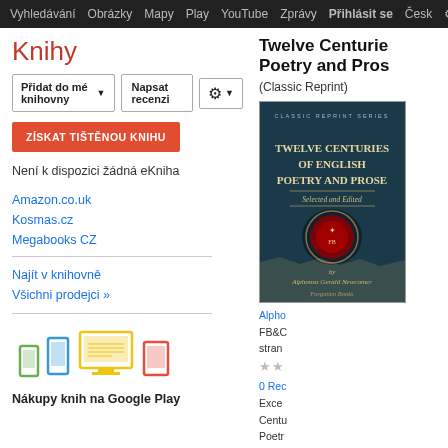Vyhledávání  Obrázky  Mapy  Play  YouTube  Zprávy  Přihlásit se  Česk  Da
Knihy
Přidat do mé knihovny ▼   Napsat recenzi   ⚙ ▼
ZÍSKAT TIŠTĚNOU KNIHU
Není k dispozici žádná eKniha
Amazon.co.uk
Kosmas.cz
Megabooks CZ
Najít v knihovně
Všichni prodejci »
Nákupy knih na Google Play
Twelve Centuries of English Poetry and Prose
(Classic Reprint)
[Figure (photo): Book cover of 'Twelve Centuries of English Poetry and Prose (Classic Reprint Series)' by Alphonso Gerald Newcomer, published by Forgotten Books. Dark cover with ornate title text.]
Alphonso Gerald Newcomer
FB&C
stran
0 Recenze
Exce Centu Poet Selec Vice